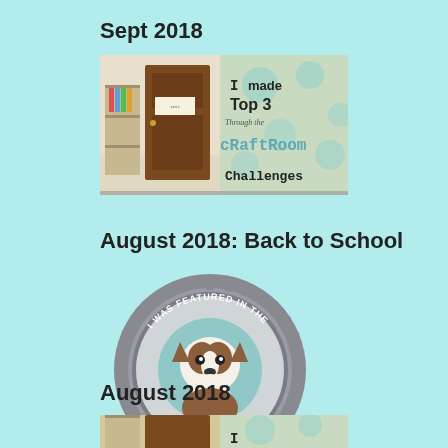Sept 2018
[Figure (illustration): Craftroom Challenges badge showing 'I made Top 3 Through the CRaftRoom Challenges' with a door image]
August 2018: Back to School
[Figure (illustration): Simon Says Stamp Designer Spotlight badge - circular grey seal with Boston Terrier dog, text 'I Was Featured In The Designer Spotlight! At Simon Says Stamp']
August 2018
[Figure (illustration): Partial view of another badge/image partially cropped at bottom of page]